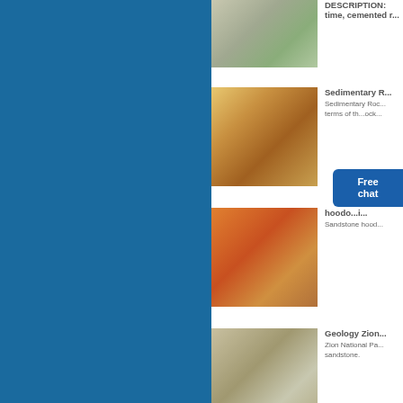[Figure (photo): Aerial view of an industrial quarry or mining facility with conveyor belts and buildings]
DESCRIPTION: time, cemented r...
[Figure (photo): Excavator/crusher machine working at a quarry or rock processing site]
Sedimentary R...
Sedimentary Roc... terms of th...ock...
[Figure (photo): Orange mobile crushing/screening equipment at a sandstone quarry]
hoodo...i...
Sandstone hood...
[Figure (photo): Industrial conveyor belt system at a quarry or aggregate processing facility]
Geology Zion...
Zion National Pa... sandstone.
[Figure (photo): Yellow heavy machinery at a quarry or rock site with blue sky]
Rocks at DMR...
"Building The Bl... Rocks exposed t...